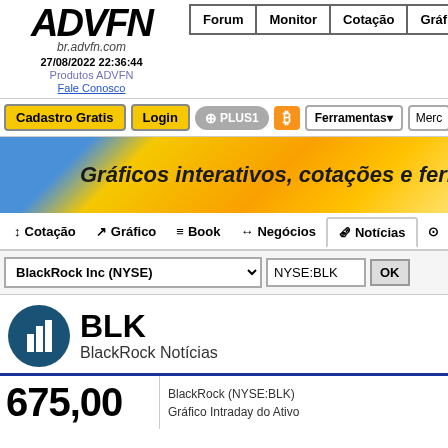[Figure (logo): ADVFN logo with br.advfn.com domain]
br.advfn.com
27/08/2022 22:36:44
Produtos ADVFN
Fale Conosco
Forum | Monitor | Cotação | Gráf
Cadastro Gratis | Login | +1 PLUS1 | B | Ferramentas▼ | Merc
[Figure (infographic): ADVFN banner: Gráficos interativos, cotações e ferram...]
↕ Cotação | ↗ Gráfico | ≡ Book | ↔ Negócios | 🗞 Notícias
BlackRock Inc (NYSE)  ∨   NYSE:BLK   OK
BLK
BlackRock Notícias
675,00
BlackRock (NYSE:BLK)
Gráfico Intraday do Ativo